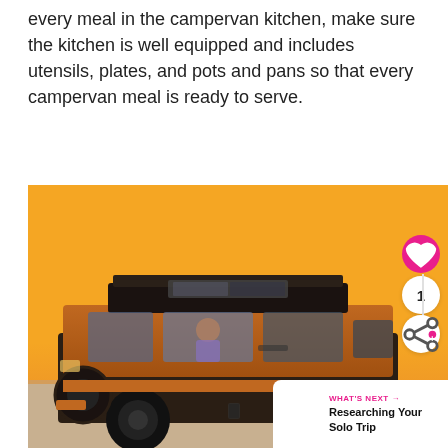every meal in the campervan kitchen, make sure the kitchen is well equipped and includes utensils, plates, and pots and pans so that every campervan meal is ready to serve.
[Figure (photo): A vintage campervan (VW Bus style) in brown/dark brown with a pop-top roof, parked on a beach with a vibrant orange sunset sky background. Social interaction buttons (heart, count '1', share) are overlaid on the right side of the image. A 'What's Next' banner in the bottom right shows a thumbnail and text 'Researching Your Solo Trip'.]